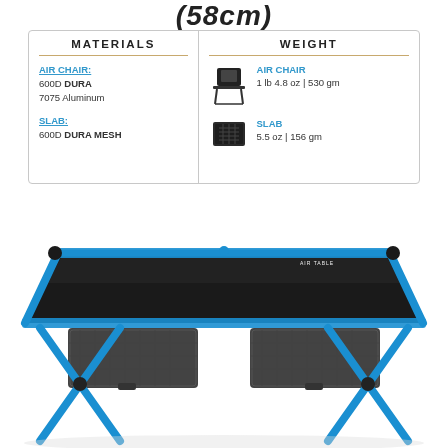(58cm)
| MATERIALS | WEIGHT |
| --- | --- |
| AIR CHAIR:
600D DURA
7075 Aluminum | AIR CHAIR
1 lb 4.8 oz | 530 gm |
| SLAB:
600D DURA MESH | SLAB
5.5 oz | 156 gm |
[Figure (photo): Helinox Air Table with blue aluminum frame and black mesh storage pockets underneath, viewed from above at an angle]